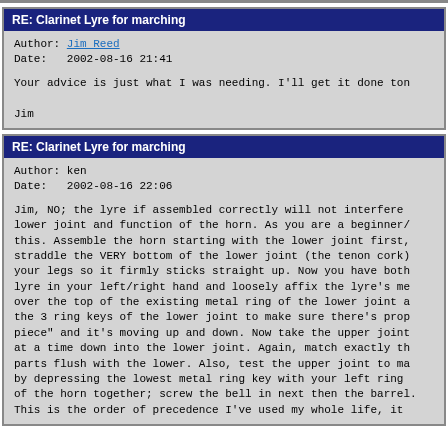RE: Clarinet Lyre for marching
Author: Jim Reed
Date:   2002-08-16 21:41

Your advice is just what I was needing. I'll get it done ton

Jim
RE: Clarinet Lyre for marching
Author: ken
Date:   2002-08-16 22:06

Jim, NO; the lyre if assembled correctly will not interfere with the lower joint and function of the horn. As you are a beginner/intermediate this. Assemble the horn starting with the lower joint first, straddle the VERY bottom of the lower joint (the tenon cork) your legs so it firmly sticks straight up. Now you have both lyre in your left/right hand and loosely affix the lyre's me over the top of the existing metal ring of the lower joint a the 3 ring keys of the lower joint to make sure there's prop piece" and it's moving up and down. Now take the upper joint at a time down into the lower joint. Again, match exactly th parts flush with the lower. Also, test the upper joint to ma by depressing the lowest metal ring key with your left ring of the horn together; screw the bell in next then the barrel. This is the order of precedence I've used my whole life, it